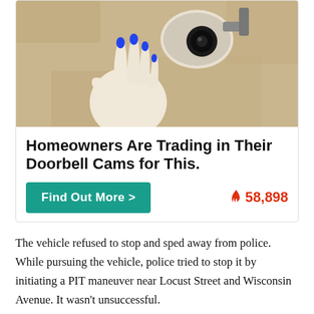[Figure (photo): A hand with blue painted fingernails touching a security camera mounted on a beige/tan wall]
Homeowners Are Trading in Their Doorbell Cams for This.
Find Out More >
🔥58,898
The vehicle refused to stop and sped away from police. While pursuing the vehicle, police tried to stop it by initiating a PIT maneuver near Locust Street and Wisconsin Avenue. It wasn't unsuccessful.
Davenport Police car was damaged and the suspects took off. The driver then lost control around a turn in the 4300 block of Telegraph Road near Sunderbruch Park, causing the vehicle to